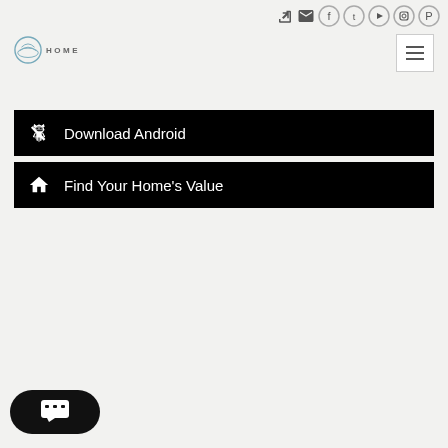Social icons and navigation bar with login, email, Facebook, Twitter, YouTube, Instagram, Pinterest icons
[Figure (logo): HOME logo with circular emblem on left and HOME text in uppercase letters]
[Figure (other): Hamburger menu button (three horizontal lines) in a bordered square]
Download Android
Find Your Home's Value
[Figure (other): Chat widget button with speech bubble icon in black rounded pill shape]